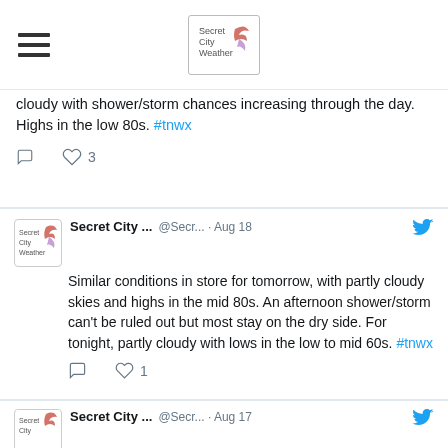Secret City Weather — navigation header with hamburger menu and logo
cloudy with shower/storm chances increasing through the day. Highs in the low 80s. #tnwx
Secret City ... @Secr... · Aug 18 — Similar conditions in store for tomorrow, with partly cloudy skies and highs in the mid 80s. An afternoon shower/storm can't be ruled out but most stay on the dry side. For tonight, partly cloudy with lows in the low to mid 60s. #tnwx
Secret City ... @Secr... · Aug 17